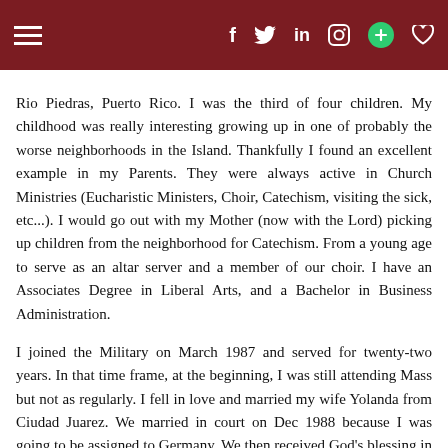Navigation header with hamburger menu and social icons (Facebook, Twitter, LinkedIn, Instagram, plus, heart)
Rio Piedras, Puerto Rico. I was the third of four children. My childhood was really interesting growing up in one of probably the worse neighborhoods in the Island. Thankfully I found an excellent example in my Parents. They were always active in Church Ministries (Eucharistic Ministers, Choir, Catechism, visiting the sick, etc...). I would go out with my Mother (now with the Lord) picking up children from the neighborhood for Catechism. From a young age to serve as an altar server and a member of our choir. I have an Associates Degree in Liberal Arts, and a Bachelor in Business Administration.
I joined the Military on March 1987 and served for twenty-two years. In that time frame, at the beginning, I was still attending Mass but not as regularly. I fell in love and married my wife Yolanda from Ciudad Juarez. We married in court on Dec 1988 because I was going to be assigned to Germany. We then received God's blessing in our union. I began serving the Church when stationed at Fort Riley, Kansas. I became a trained Eucharistic...